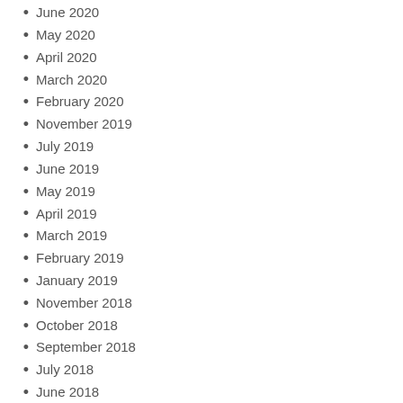June 2020
May 2020
April 2020
March 2020
February 2020
November 2019
July 2019
June 2019
May 2019
April 2019
March 2019
February 2019
January 2019
November 2018
October 2018
September 2018
July 2018
June 2018
May 2018
March 2018
January 2018
December 2017
September 2017
August 2017
June 2017